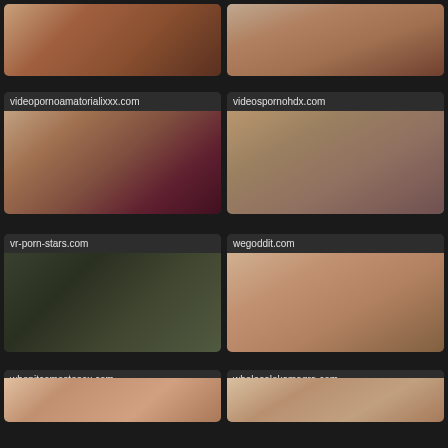[Figure (photo): Adult content thumbnail row 1 left]
[Figure (photo): Adult content thumbnail row 1 right]
videopornoamatorialixxx.com
[Figure (photo): Adult content thumbnail row 2 left]
videospornohdx.com
[Figure (photo): Adult content thumbnail row 2 right]
vr-porn-stars.com
[Figure (photo): Adult content thumbnail row 3 left]
wegoddit.com
[Figure (photo): Adult content thumbnail row 3 right]
whenitcomestosex.com
[Figure (photo): Adult content thumbnail row 4 left]
wholesalekamagra.com
[Figure (photo): Adult content thumbnail row 4 right]